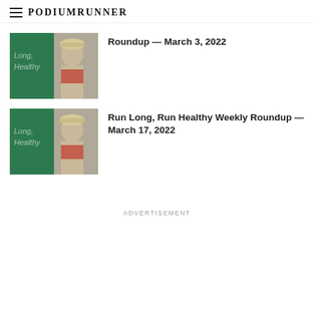PodiumRunner
[Figure (photo): Book cover thumbnail showing 'Long, Healthy' text on green background beside a man in a cap running, used as article thumbnail]
Roundup — March 3, 2022
[Figure (photo): Book cover thumbnail showing 'Long, Healthy' text on green background beside a man in a cap running, used as article thumbnail]
Run Long, Run Healthy Weekly Roundup — March 17, 2022
ADVERTISEMENT